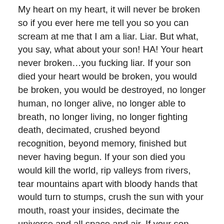My heart on my heart, it will never be broken so if you ever here me tell you so you can scream at me that I am a liar. Liar.  But what, you say, what about your son!  HA!  Your heart never broken…you fucking liar.  If your son died your heart would be broken, you would be broken, you would be destroyed, no longer human, no longer alive, no longer able to breath, no longer living, no longer fighting death, decimated, crushed beyond recognition, beyond memory, finished but never having begun.  If your son died you would kill the world, rip valleys from rivers, tear mountains apart with bloody hands that would turn to stumps, crush the sun with your mouth, roast your insides, decimate the universe and all space and air.  If your son died…
oh my…oh my…
It's just that I'm so selfish.  And really not more than just a